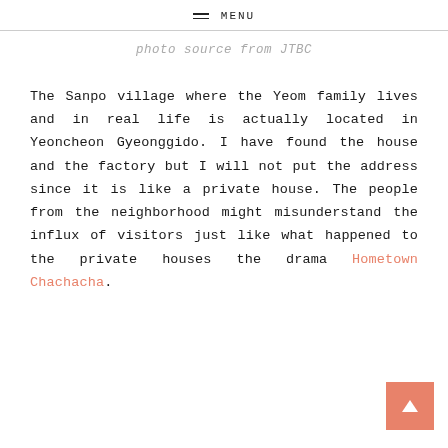MENU
photo source from JTBC
The Sanpo village where the Yeom family lives and in real life is actually located in Yeoncheon Gyeonggido. I have found the house and the factory but I will not put the address since it is like a private house. The people from the neighborhood might misunderstand the influx of visitors just like what happened to the private houses the drama Hometown Chachacha.